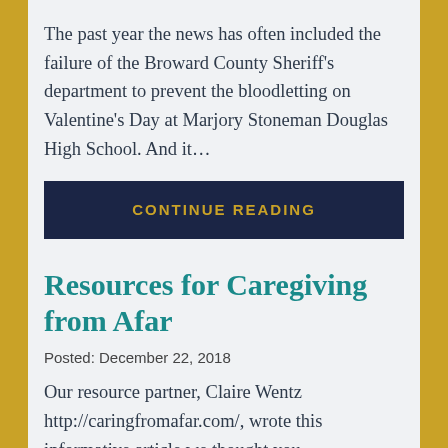The past year the news has often included the failure of the Broward County Sheriff's department to prevent the bloodletting on Valentine's Day at Marjory Stoneman Douglas High School. And it...
CONTINUE READING
Resources for Caregiving from Afar
Posted: December 22, 2018
Our resource partner, Claire Wentz http://caringfromafar.com/, wrote this informative article we thought you